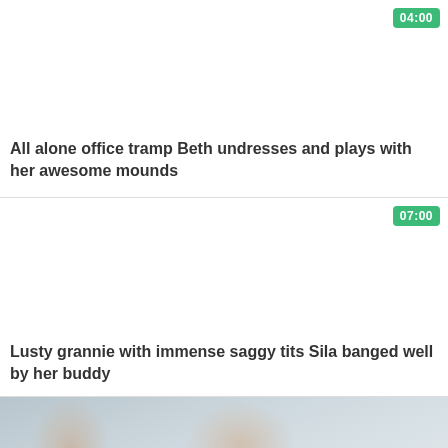[Figure (photo): Video thumbnail placeholder - white/light area for first video card]
04:00
All alone office tramp Beth undresses and plays with her awesome mounds
[Figure (photo): Video thumbnail placeholder - white/light area for second video card]
07:00
Lusty grannie with immense saggy tits Sila banged well by her buddy
[Figure (photo): Third video thumbnail - partial image visible at bottom showing person]